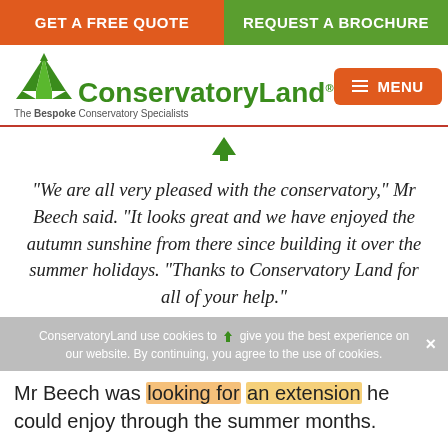GET A FREE QUOTE | REQUEST A BROCHURE
[Figure (logo): ConservatoryLand logo with green conservatory icon and tagline 'The Bespoke Conservatory Specialists']
MENU
“We are all very pleased with the conservatory,” Mr Beech said. “It looks great and we have enjoyed the autumn sunshine from there since building it over the summer holidays. “Thanks to Conservatory Land for all of your help.”
ConservatoryLand use cookies to give you the best experience on our website. By continuing, you agree to the use of cookies.
Mr Beech was looking for an extension he could enjoy through the summer months.